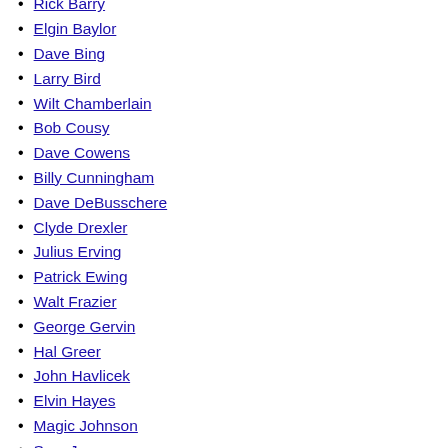Rick Barry
Elgin Baylor
Dave Bing
Larry Bird
Wilt Chamberlain
Bob Cousy
Dave Cowens
Billy Cunningham
Dave DeBusschere
Clyde Drexler
Julius Erving
Patrick Ewing
Walt Frazier
George Gervin
Hal Greer
John Havlicek
Elvin Hayes
Magic Johnson
Sam Jones
Michael Jordan
Jerry Lucas
Karl Malone
Moses Malone
Pete Maravich
Kevin McHale
George Mikan